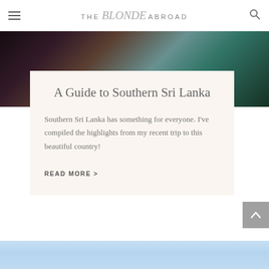THE Blonde ABROAD
[Figure (photo): Top portion of a person in colorful attire against a dark forest background]
A Guide to Southern Sri Lanka
Southern Sri Lanka has something for everyone. I've compiled the highlights from my recent trip to this beautiful country!
READ MORE >
[Figure (photo): Bottom image, light blue sky with partial landscape visible]